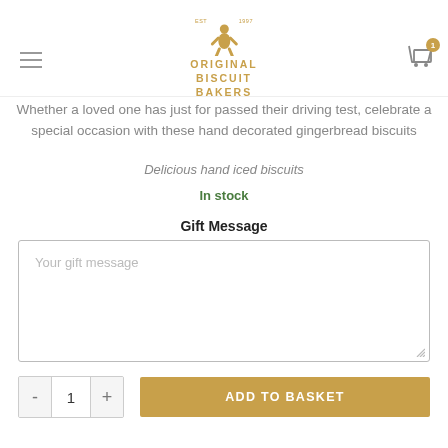[Figure (logo): Original Biscuit Bakers logo with gingerbread man icon and gold text]
Whether a loved one has just for passed their driving test, celebrate a special occasion with these hand decorated gingerbread biscuits
Delicious hand iced biscuits
In stock
Gift Message
Your gift message
ADD TO BASKET